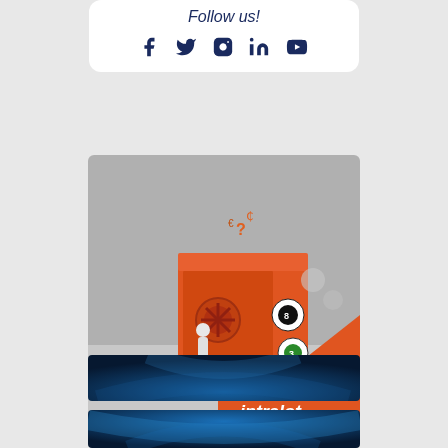Follow us!
[Figure (infographic): Social media icons: Facebook, Twitter, Instagram, LinkedIn, YouTube in dark navy blue]
[Figure (illustration): Intralot branded illustration showing an orange safe/vault with lottery balls and coins spilling out, with the Intralot logo in white on orange background]
[Figure (photo): Partial blue dark abstract background image, top portion visible]
[Figure (photo): Partial blue dark abstract background image, bottom portion visible]